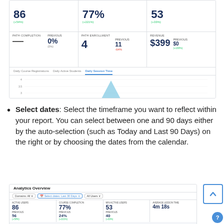[Figure (screenshot): Analytics dashboard screenshot showing metric cards: 86 (+54%), 77% (+221%), 53 (+33%), plus path completion 0% (0%), path enrollment 4 (previous 11, -64%), revenue $399 (previous $0, +100%), and a Daily Session Time chart with a spike]
Select dates: Select the timeframe you want to reflect within your report. You can select between one and 90 days either by the auto-selection (such as Today and Last 90 Days) on the right or by choosing the dates from the calendar.
[Figure (screenshot): Analytics Overview dashboard screenshot showing: Domains All dropdown, Select dates: Last 30 Days highlighted button, All Users dropdown, metric cards: Active Users 86 (previous 56, +50%), Course Completion 77% (previous 24%, +221%), Min Active Users 53 (previous 40, +33%), Average Lesson Time 4m 18s]